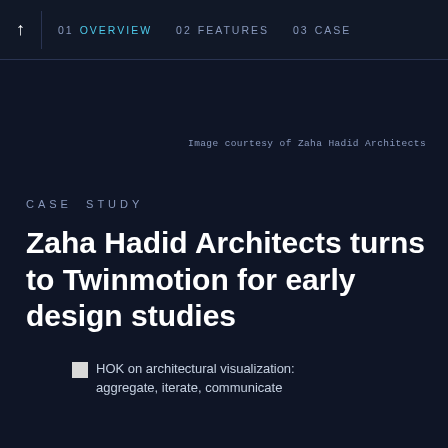↑  01 OVERVIEW  02 FEATURES  03 CASE
Image courtesy of Zaha Hadid Architects
CASE STUDY
Zaha Hadid Architects turns to Twinmotion for early design studies
HOK on architectural visualization: aggregate, iterate, communicate